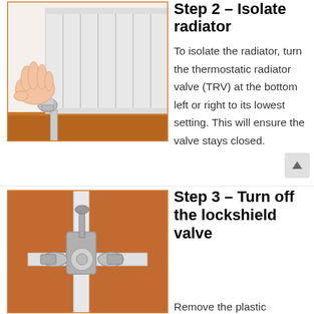[Figure (illustration): Illustration of a hand turning a thermostatic radiator valve (TRV) at the bottom of a radiator. The radiator is white with fins, and the valve/pipe connection is visible at lower left.]
Step 2 – Isolate radiator
To isolate the radiator, turn the thermostatic radiator valve (TRV) at the bottom left or right to its lowest setting. This will ensure the valve stays closed.
[Figure (illustration): Close-up illustration of a lockshield valve connected to a radiator pipe. The valve has a metal cap/spindle and nut fittings, shown against a terracotta/brown background.]
Step 3 – Turn off the lockshield valve
Remove the plastic